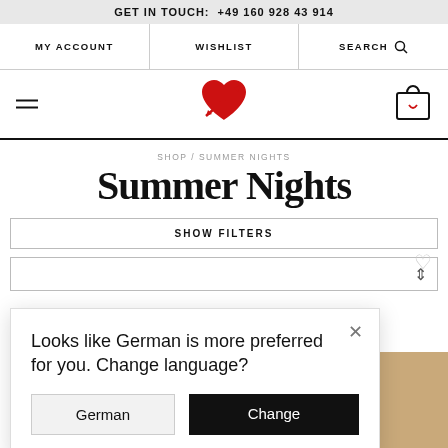GET IN TOUCH: +49 160 928 43 914
MY ACCOUNT  WISHLIST  SEARCH
[Figure (logo): Red heart with arrow through it forming a brand logo]
SHOP / SUMMER NIGHTS
Summer Nights
SHOW FILTERS
Looks like German is more preferred for you. Change language?
German  Change